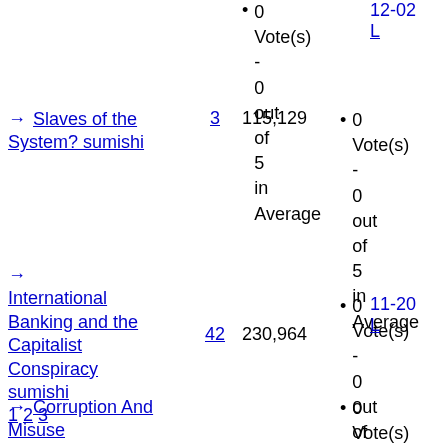→ Slaves of the System? sumishi | 3 | 115,129 | • 0 Vote(s) - 0 out of 5 in Average | 12-02 L
→ International Banking and the Capitalist Conspiracy sumishi  1 2 3 | 42 | 230,964 | • 0 Vote(s) - 0 out of 5 in Average | 11-20 L
→ Corruption And Misuse | • 0 Vote(s)